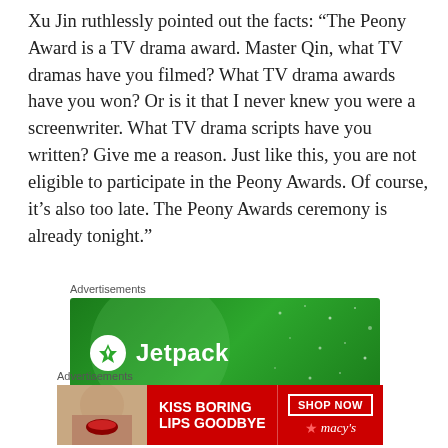Xu Jin ruthlessly pointed out the facts: “The Peony Award is a TV drama award. Master Qin, what TV dramas have you filmed? What TV drama awards have you won? Or is it that I never knew you were a screenwriter. What TV drama scripts have you written? Give me a reason. Just like this, you are not eligible to participate in the Peony Awards. Of course, it’s also too late. The Peony Awards ceremony is already tonight.”
Advertisements
[Figure (other): Jetpack advertisement banner on green background with Jetpack logo and icon]
Advertisements
[Figure (other): Macy's advertisement banner: KISS BORING LIPS GOODBYE with SHOP NOW button and Macy's logo, red background, woman's face]